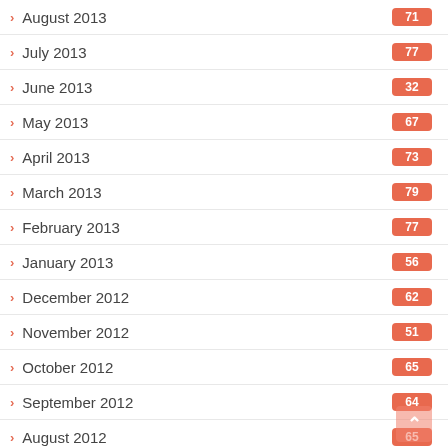August 2013 71
July 2013 77
June 2013 32
May 2013 67
April 2013 73
March 2013 79
February 2013 77
January 2013 56
December 2012 62
November 2012 51
October 2012 65
September 2012 64
August 2012 65
July 2012 79